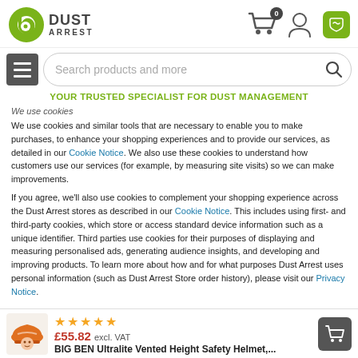[Figure (logo): Dust Arrest logo with green 'd' icon and DUST ARREST text]
[Figure (infographic): Header icons: shopping cart with badge '0', user/account icon, phone icon on green background]
[Figure (infographic): Menu hamburger button and search bar with 'Search products and more' placeholder and magnifying glass icon]
YOUR TRUSTED SPECIALIST FOR DUST MANAGEMENT
We use cookies
We use cookies and similar tools that are necessary to enable you to make purchases, to enhance your shopping experiences and to provide our services, as detailed in our Cookie Notice. We also use these cookies to understand how customers use our services (for example, by measuring site visits) so we can make improvements.
If you agree, we'll also use cookies to complement your shopping experience across the Dust Arrest stores as described in our Cookie Notice. This includes using first- and third-party cookies, which store or access standard device information such as a unique identifier. Third parties use cookies for their purposes of displaying and measuring personalised ads, generating audience insights, and developing and improving products. To learn more about how and for what purposes Dust Arrest uses personal information (such as Dust Arrest Store order history), please visit our Privacy Notice.
[Figure (photo): BIG BEN Ultralite Vented Height Safety Helmet product thumbnail]
★★★★★
£55.82  excl. VAT
BIG BEN Ultralite Vented Height Safety Helmet,...